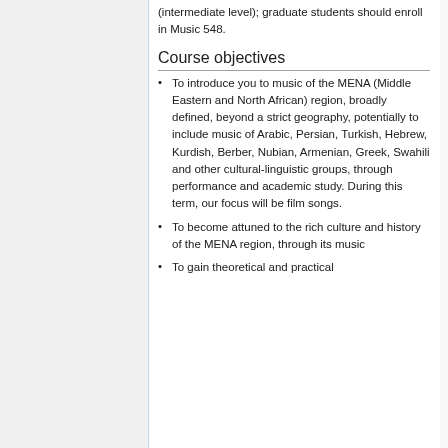(intermediate level); graduate students should enroll in Music 548.
Course objectives
To introduce you to music of the MENA (Middle Eastern and North African) region, broadly defined, beyond a strict geography, potentially to include music of Arabic, Persian, Turkish, Hebrew, Kurdish, Berber, Nubian, Armenian, Greek, Swahili and other cultural-linguistic groups, through performance and academic study. During this term, our focus will be film songs.
To become attuned to the rich culture and history of the MENA region, through its music
To gain theoretical and practical